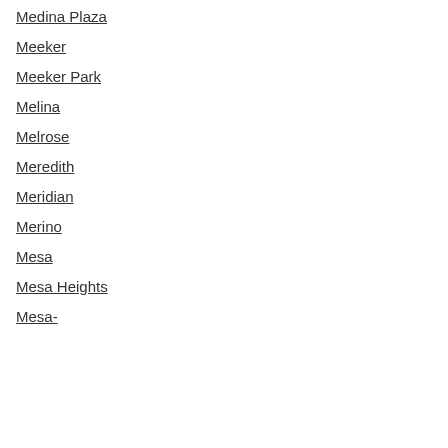Medina Plaza
Meeker
Meeker Park
Melina
Melrose
Meredith
Meridian
Merino
Mesa
Mesa Heights
Mesa-